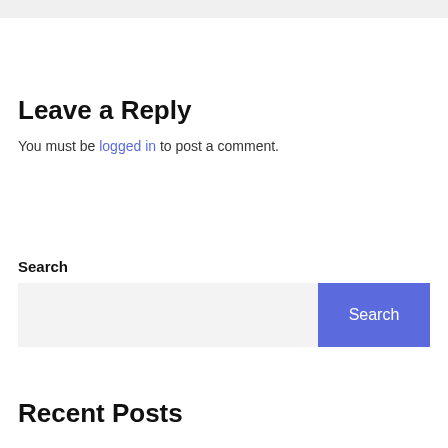Leave a Reply
You must be logged in to post a comment.
Search
Recent Posts